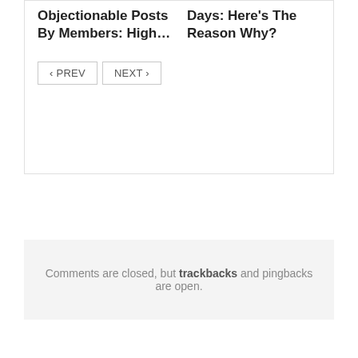Objectionable Posts By Members: High…
Days: Here's The Reason Why?
‹ PREV
NEXT ›
Comments are closed, but trackbacks and pingbacks are open.